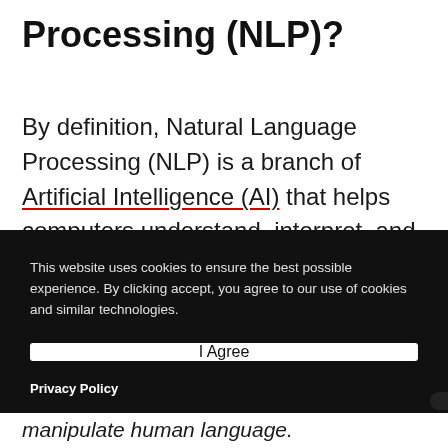Processing (NLP)?
By definition, Natural Language Processing (NLP) is a branch of Artificial Intelligence (AI) that helps computers understand, interpret, and derive meaning from human language.
This website uses cookies to ensure the best possible experience. By clicking accept, you agree to our use of cookies and similar technologies.
I Agree
Privacy Policy
manipulate human language.